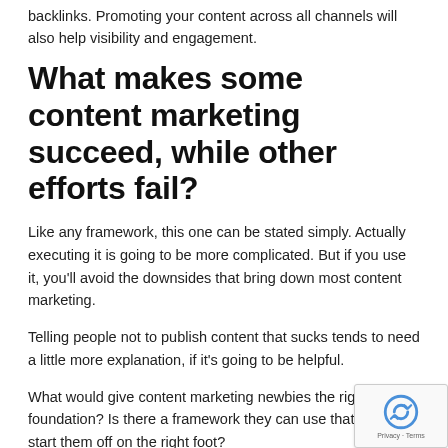backlinks. Promoting your content across all channels will also help visibility and engagement.
What makes some content marketing succeed, while other efforts fail?
Like any framework, this one can be stated simply. Actually executing it is going to be more complicated. But if you use it, you'll avoid the downsides that bring down most content marketing.
Telling people not to publish content that sucks tends to need a little more explanation, if it's going to be helpful.
What would give content marketing newbies the right foundation? Is there a framework they can use that would start them off on the right foot?
1. Educate: